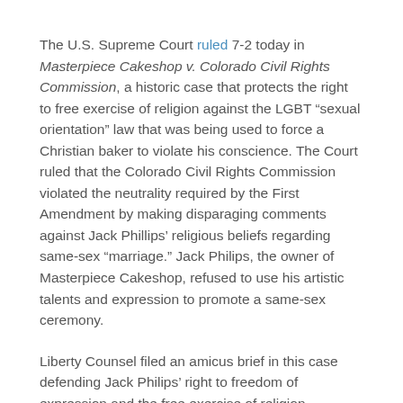The U.S. Supreme Court ruled 7-2 today in Masterpiece Cakeshop v. Colorado Civil Rights Commission, a historic case that protects the right to free exercise of religion against the LGBT “sexual orientation” law that was being used to force a Christian baker to violate his conscience. The Court ruled that the Colorado Civil Rights Commission violated the neutrality required by the First Amendment by making disparaging comments against Jack Phillips’ religious beliefs regarding same-sex “marriage.” Jack Philips, the owner of Masterpiece Cakeshop, refused to use his artistic talents and expression to promote a same-sex ceremony.
Liberty Counsel filed an amicus brief in this case defending Jack Philips’ right to freedom of expression and the free exercise of religion.